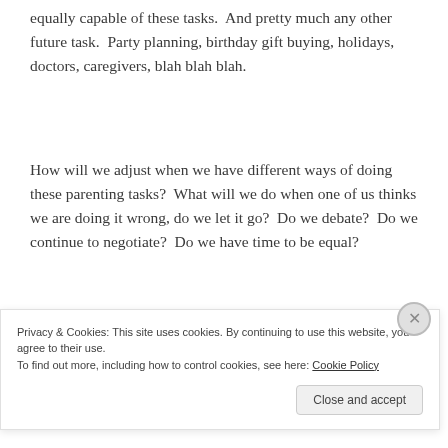equally capable of these tasks.  And pretty much any other future task.  Party planning, birthday gift buying, holidays, doctors, caregivers, blah blah blah.
How will we adjust when we have different ways of doing these parenting tasks?  What will we do when one of us thinks we are doing it wrong, do we let it go?  Do we debate?  Do we continue to negotiate?  Do we have time to be equal?
Privacy & Cookies: This site uses cookies. By continuing to use this website, you agree to their use.
To find out more, including how to control cookies, see here: Cookie Policy